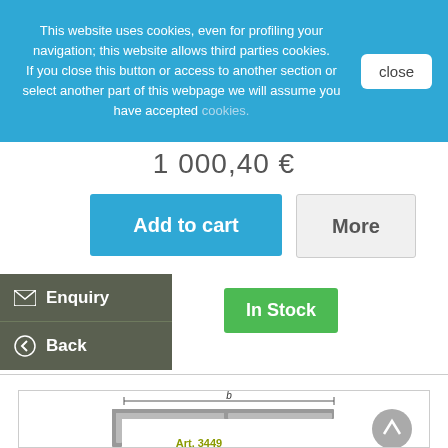This website uses cookies, even for profiling your navigation; this website allows third parties cookies. If you close this button or access to another section or select another part of this webpage we will assume you have accepted cookies.
close
1 000,40 €
Add to cart
More
Enquiry
Back
In Stock
[Figure (illustration): Product frame image with dimension indicator 'b' at top, showing a metallic picture frame corner. Text 'Art. 3449' partially visible at bottom.]